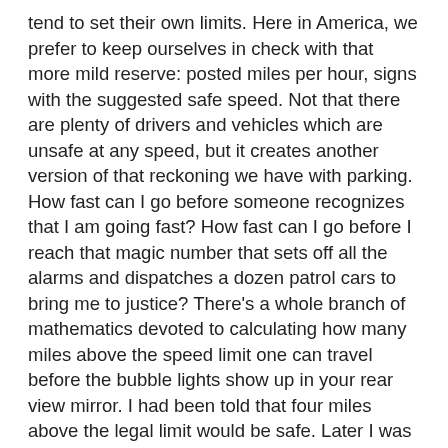tend to set their own limits. Here in America, we prefer to keep ourselves in check with that more mild reserve: posted miles per hour, signs with the suggested safe speed. Not that there are plenty of drivers and vehicles which are unsafe at any speed, but it creates another version of that reckoning we have with parking. How fast can I go before someone recognizes that I am going fast? How fast can I go before I reach that magic number that sets off all the alarms and dispatches a dozen patrol cars to bring me to justice? There's a whole branch of mathematics devoted to calculating how many miles above the speed limit one can travel before the bubble lights show up in your rear view mirror. I had been told that four miles above the legal limit would be safe. Later I was informed that radar was only accurate withing nine. This was around the time when I was told that the idea of speed being checked by aircraft was a silly thing. The bottom line is this: The posted speed is the law. Give or take, depending on the weather and the prevailing conditions. And excuses: "I was trying to get away from the cops." Some laws aren't as easily enforced. Like the no-refills statute at your favorite fast food restaurant. Be careful in